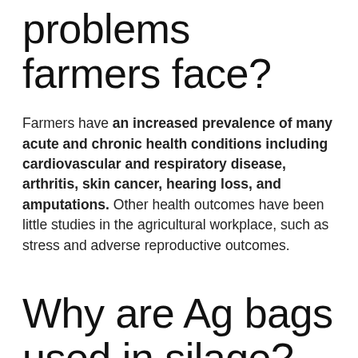problems farmers face?
Farmers have an increased prevalence of many acute and chronic health conditions including cardiovascular and respiratory disease, arthritis, skin cancer, hearing loss, and amputations. Other health outcomes have been little studies in the agricultural workplace, such as stress and adverse reproductive outcomes.
Why are Ag bags used in silage?